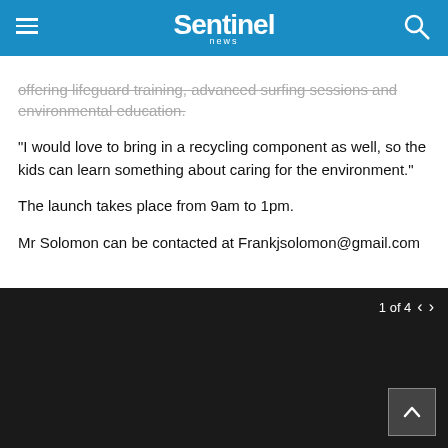Sentinel news
offering lifeguard training, advanced surfing sessions and environmental education.
“I would love to bring in a recycling component as well, so the kids can learn something about caring for the environment.”
The launch takes place from 9am to 1pm.
Mr Solomon can be contacted at Frankjsolomon@gmail.com
[Figure (photo): Image gallery showing 1 of 4 images, dark/black background with navigation arrows and scroll-to-top button]